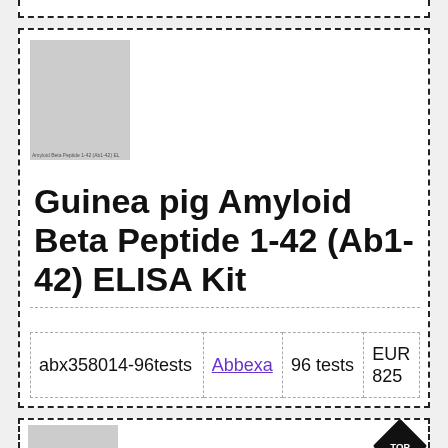[Figure (other): Product image placeholder for Amyloid Beta Peptide 1-42 (Ab1-42) ELISA Kit - grey rectangle]
Guinea pig Amyloid Beta Peptide 1-42 (Ab1-42) ELISA Kit
| SKU | Supplier | Quantity | Price |
| --- | --- | --- | --- |
| abx358014-96tests | Abbexa | 96 tests | EUR 825 |
[Figure (other): Partial product image placeholder for second listing - grey rectangle with TOP diamond badge]